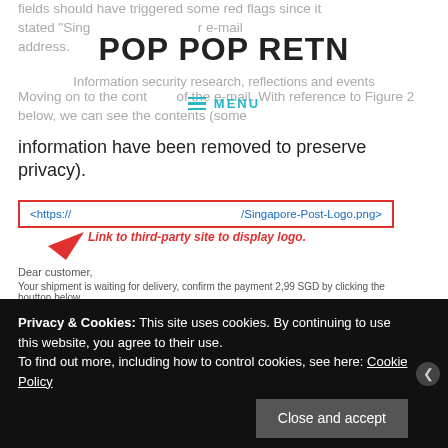fields should have triggered some red flags since it stated "Sing... r e-mail address.
POP POP RETN
Information security research, reflections and events
MENU
Moving on to the contents of the e-mail. With reference to Figure 2 below, we can see the contents (some information have been removed to preserve privacy).
[Figure (screenshot): Screenshot of phishing email with red border highlighting image tag '<https:// /Singapore-Post-Logo.png>' and red arrow annotation 'Link to third-party site to display logo.' followed by email text 'Dear customer, Your shipment is waiting for delivery, confirm the payment 2,99 SGD by clicking the boutton below.']
Privacy & Cookies: This site uses cookies. By continuing to use this website, you agree to their use. To find out more, including how to control cookies, see here: Cookie Policy